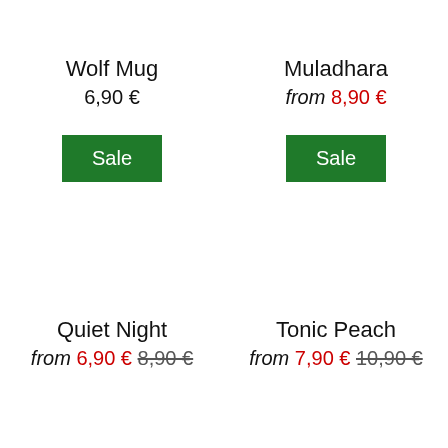Wolf Mug
6,90 €
Sale
Muladhara
from 8,90 €
Sale
Quiet Night
from 6,90 € 8,90 €
Tonic Peach
from 7,90 € 10,90 €